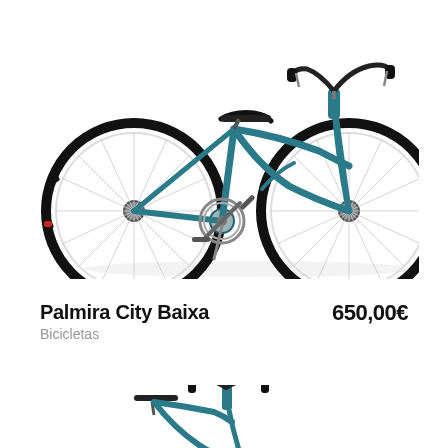[Figure (photo): Blue city bicycle (Palmira City Baixa) on white background, side view showing full frame, wheels, handlebars, and saddle]
Palmira City Baixa
Bicicletas
650,00€
[Figure (photo): Partial view of a second bicycle, cropped at bottom of page, showing handlebars and saddle area]